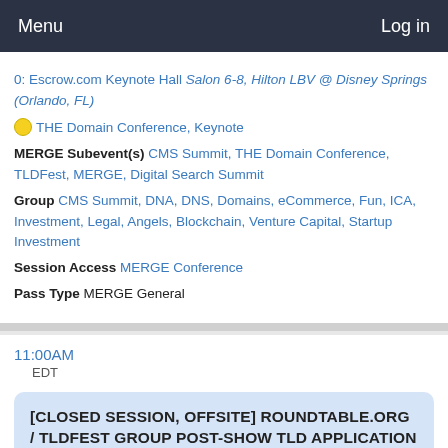Menu  Log in
0: Escrow.com Keynote Hall Salon 6-8, Hilton LBV @ Disney Springs (Orlando, FL)
🟡 THE Domain Conference, Keynote
MERGE Subevent(s) CMS Summit, THE Domain Conference, TLDFest, MERGE, Digital Search Summit
Group CMS Summit, DNA, DNS, Domains, eCommerce, Fun, ICA, Investment, Legal, Angels, Blockchain, Venture Capital, Startup Investment
Session Access MERGE Conference
Pass Type MERGE General
11:00AM EDT
[CLOSED SESSION, OFFSITE] ROUNDTABLE.ORG / TLDFEST GROUP POST-SHOW TLD APPLICATION SESSION P1